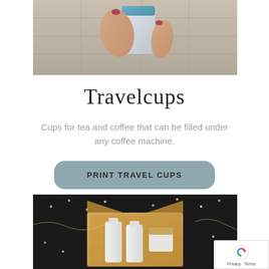[Figure (photo): A hand with red nail polish holding a white/grey travel cup, with cobblestone pavement in the background.]
Travelcups
Cups for tea and coffee that can be filled under any coffee machine.
PRINT TRAVEL CUPS
[Figure (photo): An open cardboard box with white bottles and a bamboo-lidded container inside, surrounded by fairy lights on a dark background.]